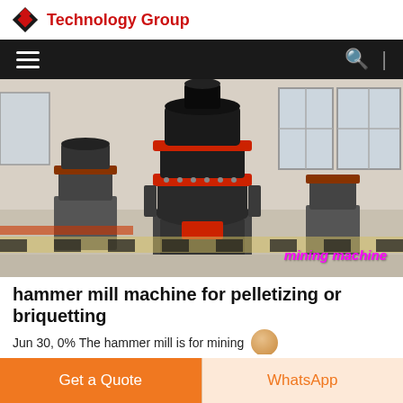Technology Group
[Figure (photo): Industrial cone crusher / hammer mill machine on a factory floor with several similar machines in the background. Text overlay reads 'mining machine' in magenta italic.]
hammer mill machine for pelletizing or briquetting
Jun 30, 0% The hammer mill is for mining...